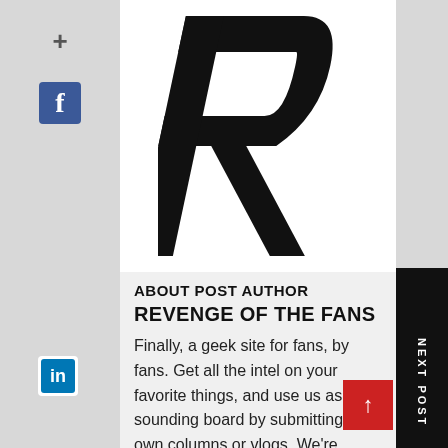[Figure (logo): Large bold italic letter R logo in black on white background]
ABOUT POST AUTHOR
REVENGE OF THE FANS
Finally, a geek site for fans, by fans. Get all the intel on your favorite things, and use us as your sounding board by submitting your own columns or vlogs. We're starting a revolution. You in?